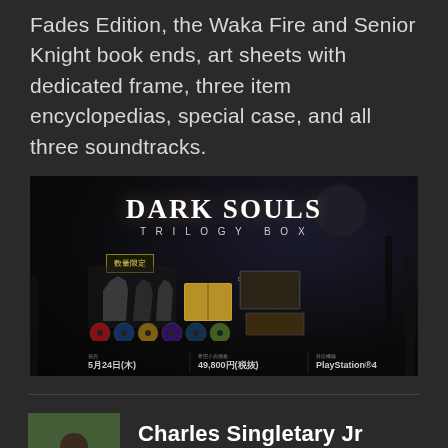Fades Edition, the Waka Fire and Senior Knight book ends, art sheets with dedicated frame, three item encyclopedias, special case, and all three soundtracks.
[Figure (photo): Dark Souls Trilogy Box promotional image showing collector's edition contents including figurines, art books, discs, and photos. Text shows release date 5月24日(木), price 49,800円(税抜), platform PlayStation 4. Japanese label 数量限定 (limited quantity).]
Charles Singletary Jr
News Editor